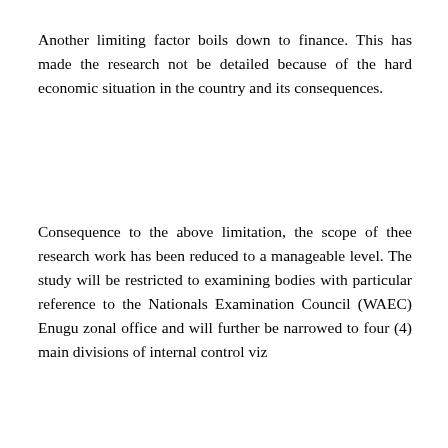Another limiting factor boils down to finance. This has made the research not be detailed because of the hard economic situation in the country and its consequences.
Consequence to the above limitation, the scope of thee research work has been reduced to a manageable level. The study will be restricted to examining bodies with particular reference to the Nationals Examination Council (WAEC) Enugu zonal office and will further be narrowed to four (4) main divisions of internal control viz